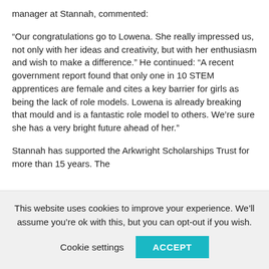manager at Stannah, commented:
“Our congratulations go to Lowena. She really impressed us, not only with her ideas and creativity, but with her enthusiasm and wish to make a difference.” He continued: “A recent government report found that only one in 10 STEM apprentices are female and cites a key barrier for girls as being the lack of role models. Lowena is already breaking that mould and is a fantastic role model to others. We’re sure she has a very bright future ahead of her.”
Stannah has supported the Arkwright Scholarships Trust for more than 15 years. The
This website uses cookies to improve your experience. We’ll assume you’re ok with this, but you can opt-out if you wish.
Cookie settings | ACCEPT